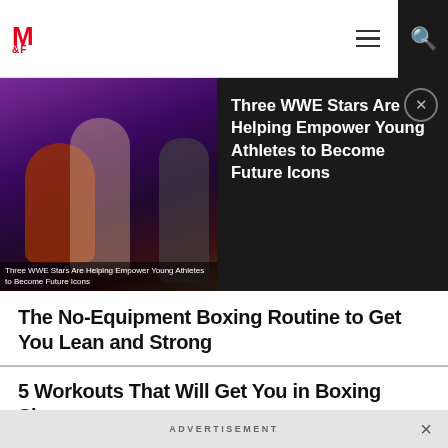M&F
[Figure (photo): WWE Stars promotional image with performers on stage with purple lighting. Caption: Three WWE Stars Are Helping Empower Young Athletes to Become Future Icons]
Three WWE Stars Are Helping Empower Young Athletes to Become Future Icons
The No-Equipment Boxing Routine to Get You Lean and Strong
5 Workouts That Will Get You in Boxing Shape
The Shadowboxing Conditioning Workout
ADVERTISEMENT